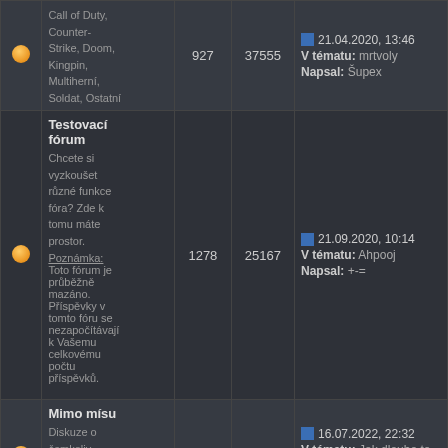|  | Forum | Topics | Posts | Last post |
| --- | --- | --- | --- | --- |
| • | Call of Duty, Counter-Strike, Doom, Kingpin, Multiherní, Soldat, Ostatní | 927 | 37555 | 21.04.2020, 13:46 V tématu: mrtvoly Napsal: Šupex |
| • | Testovací fórum
Chcete si vyzkoušet různé funkce fóra? Zde k tomu máte prostor.
Poznámka: Toto fórum je průběžně mazáno. Příspěvky v tomto fóru se nezapočítávají k Vašemu celkovému počtu příspěvků. | 1278 | 25167 | 21.09.2020, 10:14 V tématu: Ahpooj Napsal: +-= |
| • | Mimo mísu
Diskuze o čemkoliv.
Podkategorie: Guru fórum, Software & Hardware | 7992 | 332315 | 16.07.2022, 22:32 V tématu: Jak dlouho to tady bude jeste Napsal: l-l.e.r.g.o.t.l-l |